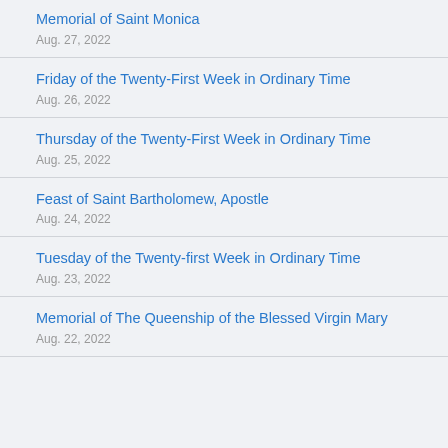Memorial of Saint Monica
Aug. 27, 2022
Friday of the Twenty-First Week in Ordinary Time
Aug. 26, 2022
Thursday of the Twenty-First Week in Ordinary Time
Aug. 25, 2022
Feast of Saint Bartholomew, Apostle
Aug. 24, 2022
Tuesday of the Twenty-first Week in Ordinary Time
Aug. 23, 2022
Memorial of The Queenship of the Blessed Virgin Mary
Aug. 22, 2022